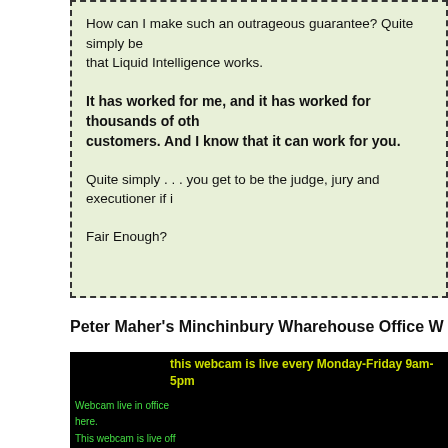How can I make such an outrageous guarantee? Quite simply because I know that Liquid Intelligence works.
It has worked for me, and it has worked for thousands of other customers. And I know that it can work for you.
Quite simply . . . you get to be the judge, jury and executioner if it doesn't work.
Fair Enough?
Peter Maher's Minchinbury Wharehouse Office W...
[Figure (screenshot): Black background video frame with text overlay. Yellow-green text at top, webcam feed description in green. Purple overlay with yellow text: 'Office Open 7am To 7pm Seven Days a Week CLICK HERE To Ask A Question']